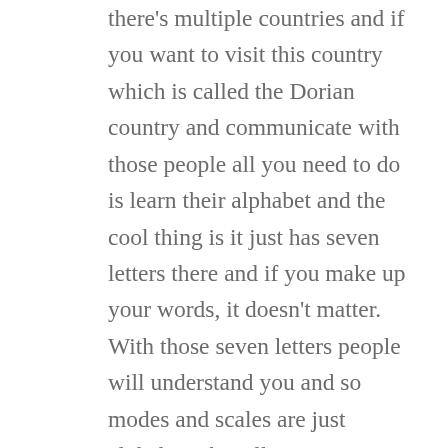there's multiple countries and if you want to visit this country which is called the Dorian country and communicate with those people all you need to do is learn their alphabet and the cool thing is it just has seven letters there and if you make up your words, it doesn't matter. With those seven letters people will understand you and so modes and scales are just alphabets that allow you to visit different countries and it's a passport, too. The more alphabets you know, the more countries you can visit. So the analogy is like the more modes you learn the more scales you learn the more theory concepts you learn, the more people you can talk to, the more places you can visit and musically, the more genres you can get into. I think, sorry, it's kind of long-winded, but